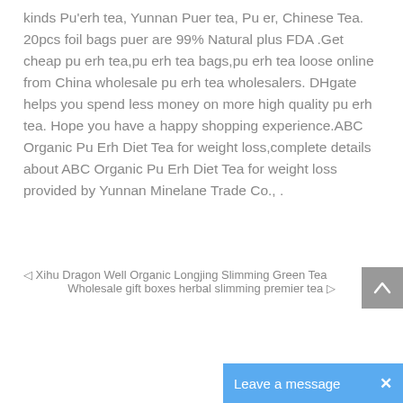kinds Pu'erh tea, Yunnan Puer tea, Pu er, Chinese Tea. 20pcs foil bags puer are 99% Natural plus FDA .Get cheap pu erh tea,pu erh tea bags,pu erh tea loose online from China wholesale pu erh tea wholesalers. DHgate helps you spend less money on more high quality pu erh tea. Hope you have a happy shopping experience.ABC Organic Pu Erh Diet Tea for weight loss,complete details about ABC Organic Pu Erh Diet Tea for weight loss provided by Yunnan Minelane Trade Co., .
◁ Xihu Dragon Well Organic Longjing Slimming Green Tea
Wholesale gift boxes herbal slimming premier tea ▷